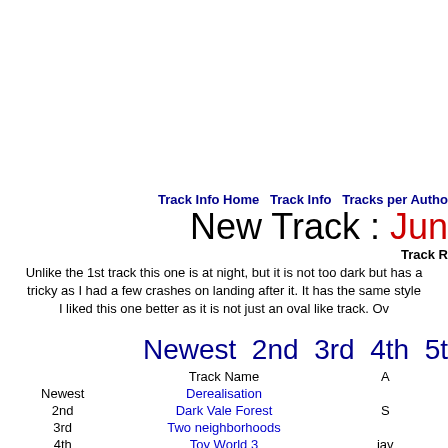Track Info Home   Track Info   Tracks per Author
New Track : Jun
Track R
Unlike the 1st track this one is at night, but it is not too dark but has a tricky as I had a few crashes on landing after it. It has the same style I liked this one better as it is not just an oval like track. Ov
Newest  2nd  3rd  4th  5th
| Track Name | A |
| --- | --- |
| Newest | Derealisation |  |
| 2nd | Dark Vale Forest | S |
| 3rd | Two neighborhoods |  |
| 4th | Toy World 3 | jav |
| 5th | Museum Unleashed | maxi, Chr |
| 6th | Mycolium |  |